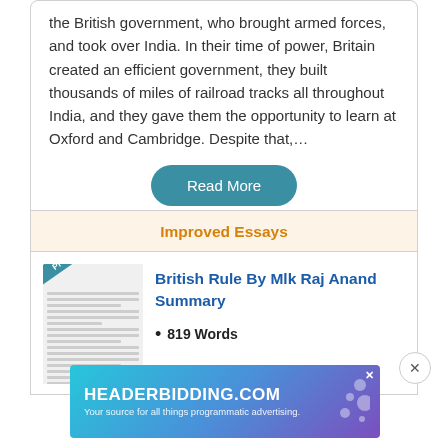the British government, who brought armed forces, and took over India. In their time of power, Britain created an efficient government, they built thousands of miles of railroad tracks all throughout India, and they gave them the opportunity to learn at Oxford and Cambridge. Despite that,…
Read More
Improved Essays
[Figure (illustration): Thumbnail preview of an essay document with a blue 'Preview' ribbon banner in the upper-left corner]
British Rule By Mlk Raj Anand Summary
819 Words
[Figure (screenshot): Advertisement banner for HEADERBIDDING.COM – Your source for all things programmatic advertising.]